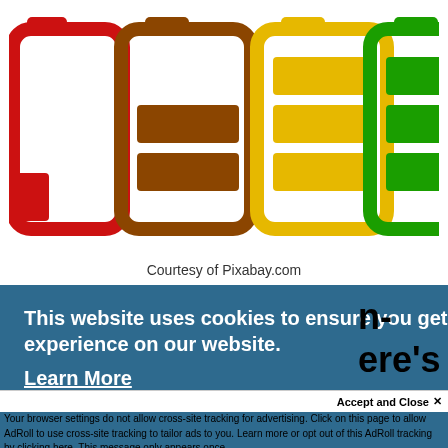[Figure (illustration): Four battery icons shown side by side at varying charge levels: first battery (red) nearly empty with a small red rectangle at bottom-left; second battery (brown/orange) about 25% charged with two brown bars; third battery (yellow) about 60% charged with three yellow bars; fourth battery (green) fully charged with four green bars.]
Courtesy of Pixabay.com
This website uses cookies to ensure you get the best experience on our website. Learn More
n-
ere's
Accept and Close ✕
Your browser settings do not allow cross-site tracking for advertising. Click on this page to allow AdRoll to use cross-site tracking to tailor ads to you. Learn more or opt out of this AdRoll tracking by clicking here. This message only appears once.